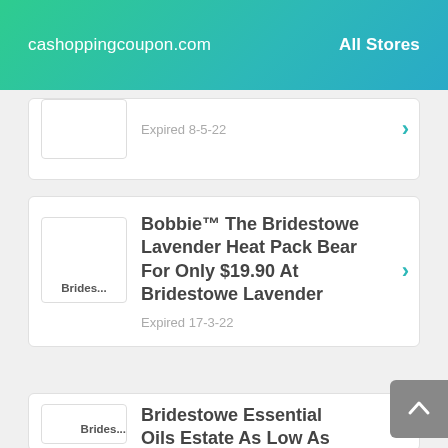cashoppingcoupon.com   All Stores
Expired 8-5-22
Bobbie™ The Bridestowe Lavender Heat Pack Bear For Only $19.90 At Bridestowe Lavender
Expired 17-3-22
Bridestowe Essential Oils Estate As Low As $...